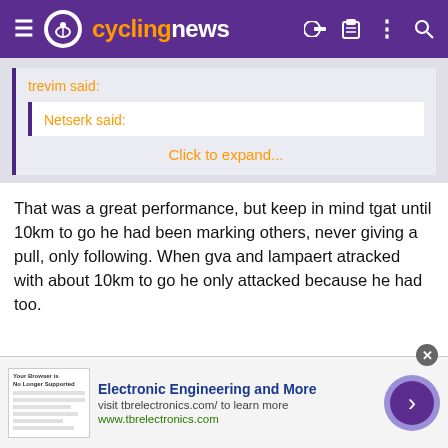cyclingnews
trevim said:
Netserk said:
Click to expand...
That was a great performance, but keep in mind tgat until 10km to go he had been marking others, never giving a pull, only following. When gva and lampaert atracked with about 10km to go he only attacked because he had too.
[Figure (screenshot): Advertisement banner for tbrelectronics.com - Electronic Engineering and More]